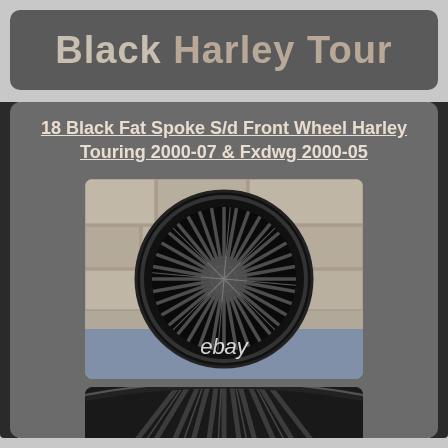Black Harley Tour
18 Black Fat Spoke S/d Front Wheel Harley Touring 2000-07 & Fxdwg 2000-05
[Figure (photo): Black fat spoke motorcycle front wheel (18 inch) displayed against a stone wall background, with eBay watermark]
[Figure (photo): Close-up cropped view of the black fat spoke wheel showing spokes detail]